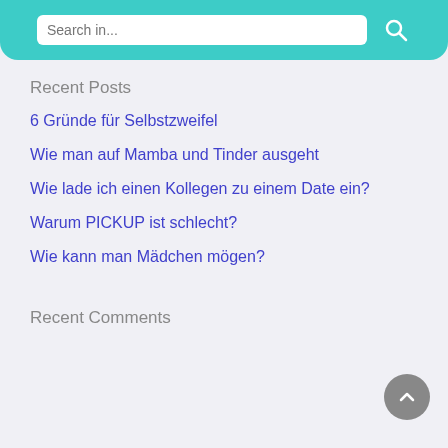[Figure (screenshot): Search bar with teal/turquoise background and white input field with search icon]
Recent Posts
6 Gründe für Selbstzweifel
Wie man auf Mamba und Tinder ausgeht
Wie lade ich einen Kollegen zu einem Date ein?
Warum PICKUP ist schlecht?
Wie kann man Mädchen mögen?
Recent Comments